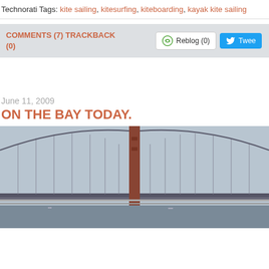Technorati Tags: kite sailing, kitesurfing, kiteboarding, kayak kite sailing
COMMENTS (7) TRACKBACK (0)
June 11, 2009
ON THE BAY TODAY.
[Figure (photo): Photo of the Golden Gate Bridge tower and cables with hills in the background, hazy sky]